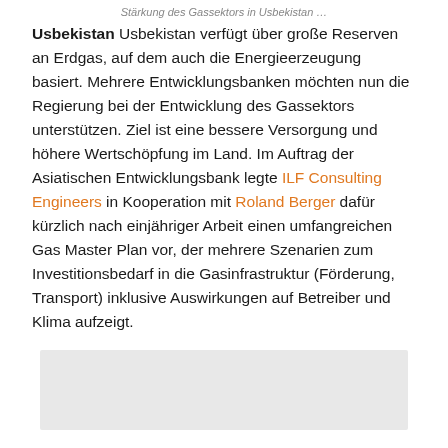Stärkung des Gassektors in Usbekistan …
Usbekistan Usbekistan verfügt über große Reserven an Erdgas, auf dem auch die Energieerzeugung basiert. Mehrere Entwicklungsbanken möchten nun die Regierung bei der Entwicklung des Gassektors unterstützen. Ziel ist eine bessere Versorgung und höhere Wertschöpfung im Land. Im Auftrag der Asiatischen Entwicklungsbank legte ILF Consulting Engineers in Kooperation mit Roland Berger dafür kürzlich nach einjähriger Arbeit einen umfangreichen Gas Master Plan vor, der mehrere Szenarien zum Investitionsbedarf in die Gasinfrastruktur (Förderung, Transport) inklusive Auswirkungen auf Betreiber und Klima aufzeigt.
[Figure (photo): Partially visible photograph at the bottom of the page, appears to show an industrial or infrastructure scene related to gas sector in Uzbekistan.]